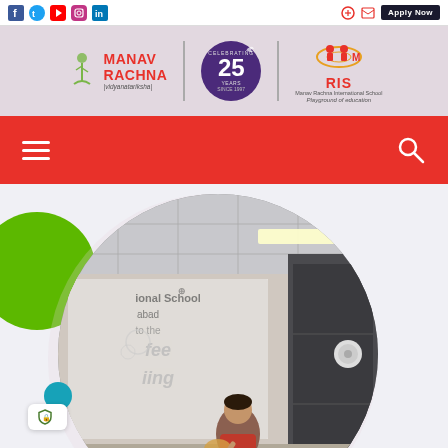Social media icons and Apply Now button
[Figure (logo): Manav Rachna Vidyanatariksha logo with tree icon and red text, 25th anniversary purple circle badge, and MRIS Manav Rachna International School logo with tagline 'Playground of education']
Navigation bar with hamburger menu and search icon
[Figure (photo): Circular cropped photograph of a woman speaking at a podium in a conference room, with a presentation screen visible showing text 'ional School', 'abad', 'to the', 'fee', 'iing' and decorative green and blue circles in background]